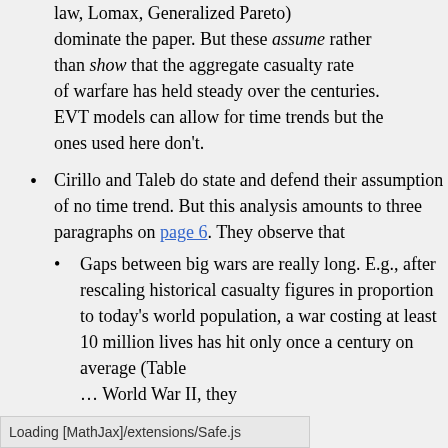law, Lomax, Generalized Pareto) dominate the paper. But these assume rather than show that the aggregate casualty rate of warfare has held steady over the centuries. EVT models can allow for time trends but the ones used here don't.
Cirillo and Taleb do state and defend their assumption of no time trend. But this analysis amounts to three paragraphs on page 6. They observe that
Gaps between big wars are really long. E.g., after rescaling historical casualty figures in proportion to today's world population, a war costing at least 10 million lives has hit only once a century on average (Table ... World War II, they
Loading [MathJax]/extensions/Safe.js